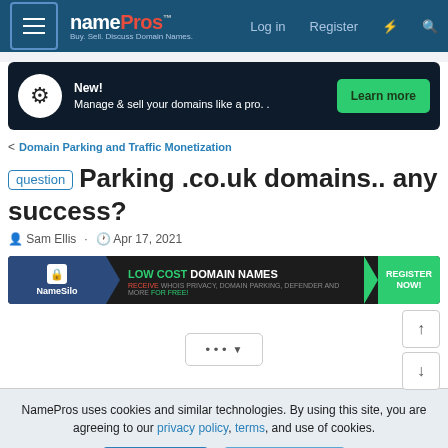NamePros — Buy. Sell. Discuss Domain Names. | Log in | Register
[Figure (screenshot): NameSilo advertisement banner: New! Manage & sell your domains like a pro. Learn more]
< Domain Parking and Traffic Monetization
question Parking .co.uk domains.. any success?
Sam Ellis · Apr 17, 2021
[Figure (screenshot): NameSilo advertisement: LOW COST DOMAIN NAMES — RECEIVE WHOIS PRIVACY, DOMAIN PARKING, DEFENDER AND MORE FOR FREE! REGISTER NOW!]
...
NamePros uses cookies and similar technologies. By using this site, you are agreeing to our privacy policy, terms, and use of cookies.
✓ Accept | Learn more...